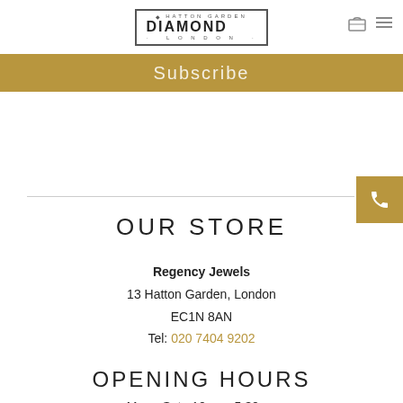HATTON GARDEN DIAMOND LONDON
Subscribe
OUR STORE
Regency Jewels
13 Hatton Garden, London
EC1N 8AN
Tel: 020 7404 9202
OPENING HOURS
Mon - Sat : 10am - 5:30pm